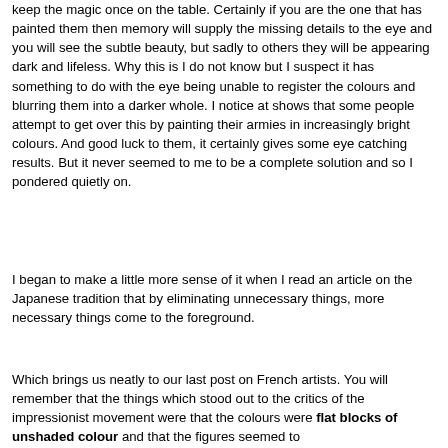keep the magic once on the table. Certainly if you are the one that has painted them then memory will supply the missing details to the eye and you will see the subtle beauty, but sadly to others they will be appearing dark and lifeless. Why this is I do not know but I suspect it has something to do with the eye being unable to register the colours and blurring them into a darker whole. I notice at shows that some people attempt to get over this by painting their armies in increasingly bright colours. And good luck to them, it certainly gives some eye catching results. But it never seemed to me to be a complete solution and so I pondered quietly on.
I began to make a little more sense of it when I read an article on the Japanese tradition that by eliminating unnecessary things, more necessary things come to the foreground.
Which brings us neatly to our last post on French artists. You will remember that the things which stood out to the critics of the impressionist movement were that the colours were flat blocks of unshaded colour and that the figures seemed to